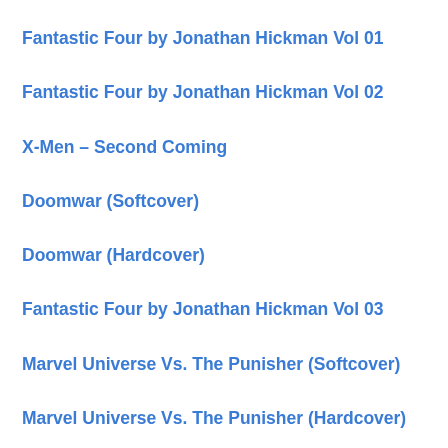Fantastic Four by Jonathan Hickman Vol 01
Fantastic Four by Jonathan Hickman Vol 02
X-Men – Second Coming
Doomwar (Softcover)
Doomwar (Hardcover)
Fantastic Four by Jonathan Hickman Vol 03
Marvel Universe Vs. The Punisher (Softcover)
Marvel Universe Vs. The Punisher (Hardcover)